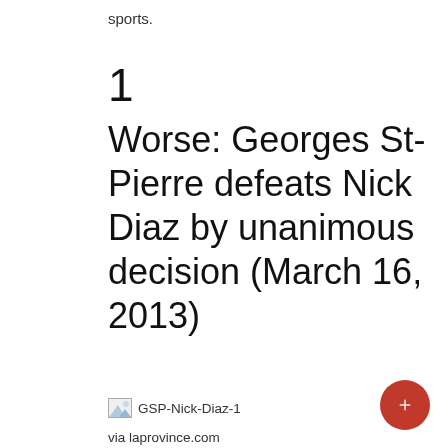sports.
1
Worse: Georges St-Pierre defeats Nick Diaz by unanimous decision (March 16, 2013)
[Figure (photo): Broken image placeholder labeled GSP-Nick-Diaz-1]
via laprovince.com